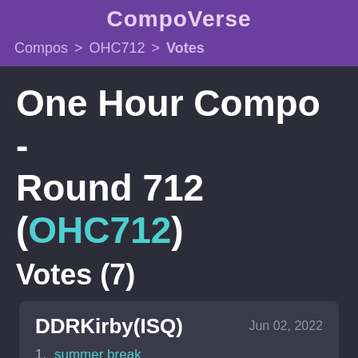CompoVerse
Compos > OHC712 > Votes
One Hour Compo - Round 712 (OHC712)
Votes (7)
DDRKirby(ISQ)   Jun 02, 2022
1. summer break - coloradoweeks
2. cellular thud - Suzumebachi